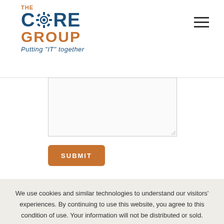[Figure (logo): The Core Group logo with puzzle gear icon and tagline 'Putting "IT" together']
[Figure (other): Hamburger menu icon (three horizontal lines) in top right corner]
[Figure (other): Form textarea input box with resize handle]
SUBMIT
We use cookies and similar technologies to understand our visitors' experiences. By continuing to use this website, you agree to this condition of use. Your information will not be distributed or sold.
For further information please see our Privacy Policy
ACCEPT
Delete Cookies